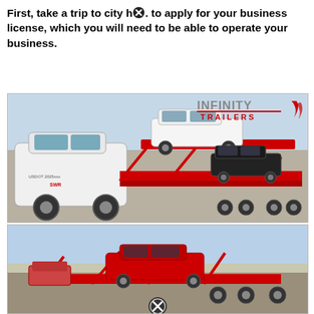First, take a trip to city h[X]. to apply for your business license, which you will need to be able to operate your business.
[Figure (photo): A white pickup truck (USDOT labeled, SWR markings) pulling a red car-hauler trailer loaded with multiple cars including a white SUV on the upper deck and black vehicles on the lower deck. 'INFINITY TRAILERS' logo visible in the upper right. Outdoor setting on a paved lot.]
[Figure (photo): Partial view of a red car-hauler trailer with cars loaded on it, photographed at dusk or dawn with a light blue sky. A circle-X icon overlays the bottom center of the image.]